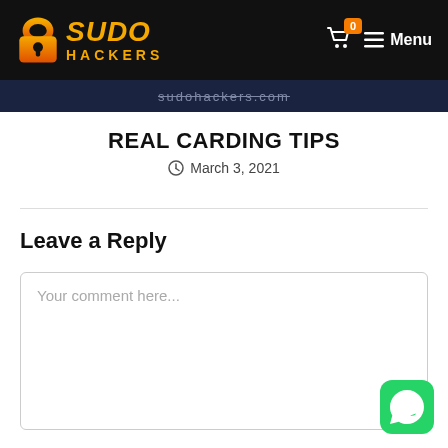SUDO HACKERS — Menu (0 cart items)
[Figure (screenshot): Banner strip with sudohackers.com URL text]
REAL CARDING TIPS
March 3, 2021
Leave a Reply
Your comment here...
[Figure (logo): WhatsApp green rounded square button icon]